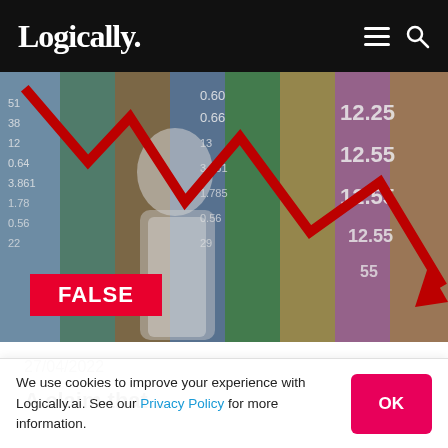Logically.
[Figure (photo): Composite image of a person wearing a face mask overlaid with colorful stock market ticker data and a large red downward zigzag arrow, with a red 'FALSE' badge in the lower left corner.]
27/04/2022
A claim that...
We use cookies to improve your experience with Logically.ai. See our Privacy Policy for more information.